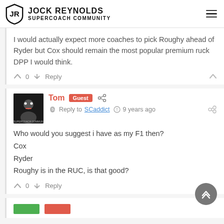Jock Reynolds Supercoach Community
I would actually expect more coaches to pick Roughy ahead of Ryder but Cox should remain the most popular premium ruck DPP I would think.
0  Reply
Tom Guest  Reply to SCaddict  9 years ago
Who would you suggest i have as my F1 then?
Cox
Ryder
Roughy is in the RUC, is that good?
0  Reply